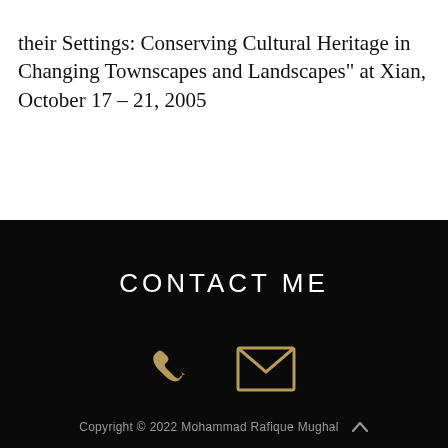their Settings: Conserving Cultural Heritage in Changing Townscapes and Landscapes" at Xian, October 17 – 21, 2005
CONTACT ME
[Figure (infographic): Two golden icons: a phone handset icon and an envelope/email icon on a black background]
Copyright © 2022 Mohammad Rafique Mughal